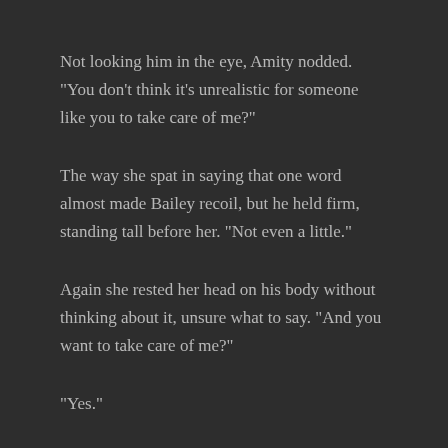Not looking him in the eye, Amity nodded. "You don't think it's unrealistic for someone like you to take care of me?"
The way she spat in saying that one word almost made Bailey recoil, but he held firm, standing tall before her. "Not even a little."
Again she rested her head on his body without thinking about it, unsure what to say. "And you want to take care of me?"
"Yes."
Still she remained silent, her eyes wandering to look